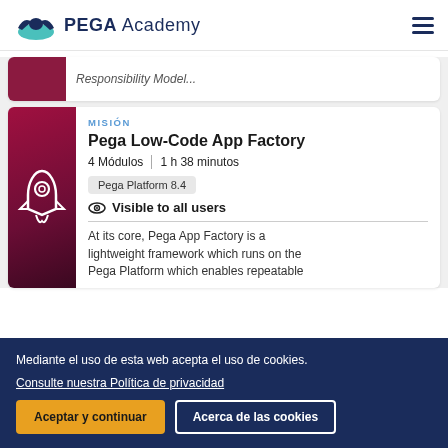PEGA Academy
Responsibility Model...
MISIÓN
Pega Low-Code App Factory
4 Módulos | 1 h 38 minutos
Pega Platform 8.4
Visible to all users
At its core, Pega App Factory is a lightweight framework which runs on the Pega Platform which enables repeatable
Mediante el uso de esta web acepta el uso de cookies.
Consulte nuestra Política de privacidad
Aceptar y continuar
Acerca de las cookies